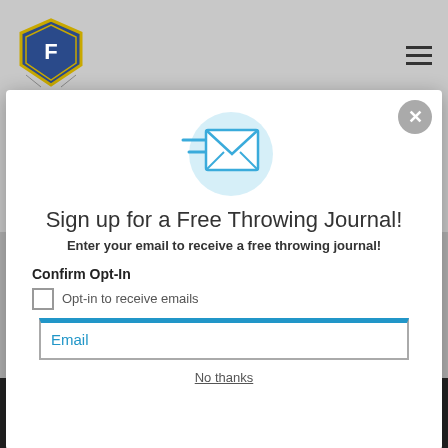After a few weeks of practice, I met Coach Dan in his office, asked him to go into more detail
[Figure (screenshot): Modal popup overlay with flying envelope icon on light blue circle background, close button (X) in top right corner]
Sign up for a Free Throwing Journal!
Enter your email to receive a free throwing journal!
Confirm Opt-In
Opt-in to receive emails
Email
No thanks
Sign up!